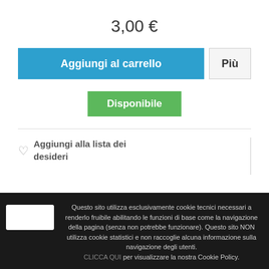3,00 €
Aggiungi al carrello
Più
Disponibile
Aggiungi alla lista dei desideri
Mostrando 1 - 2 di 2 articoli
Questo sito utilizza esclusivamente cookie tecnici necessari a renderlo fruibile abilitando le funzioni di base come la navigazione della pagina (senza non potrebbe funzionare). Questo sito NON utilizza cookie statistici e non raccoglie alcuna informazione sulla navigazione degli utenti.
CLICCA QUI per visualizzare la nostra Cookie Policy.